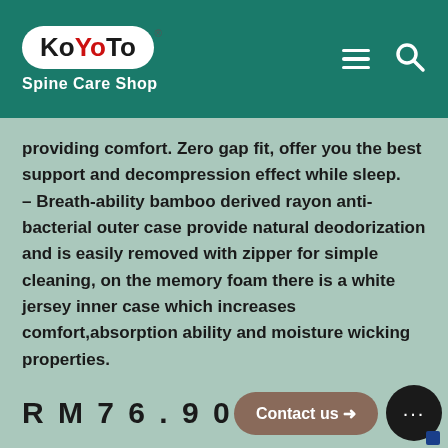[Figure (logo): KoYoTo Spine Care Shop logo — white oval badge with KoYoTo text (Yo in red) and registered trademark symbol, with 'Spine Care Shop' text below in white on teal background]
providing comfort. Zero gap fit, offer you the best support and decompression effect while sleep.
– Breath-ability bamboo derived rayon anti-bacterial outer case provide natural deodorization and is easily removed with zipper for simple cleaning, on the memory foam there is a white jersey inner case which increases comfort,absorption ability and moisture wicking properties.
RM76.90